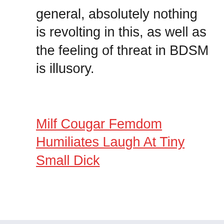general, absolutely nothing is revolting in this, as well as the feeling of threat in BDSM is illusory.
Milf Cougar Femdom Humiliates Laugh At Tiny Small Dick